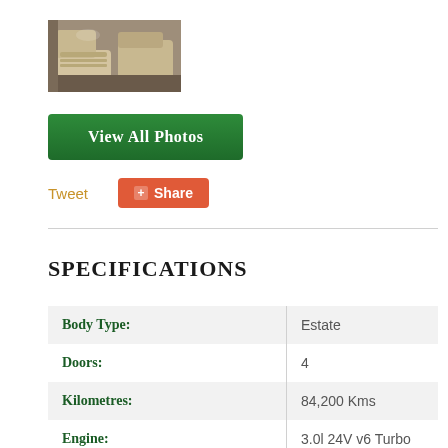[Figure (photo): Car interior photo showing beige/tan leather seats]
View All Photos
Tweet
Share
SPECIFICATIONS
| Field | Value |
| --- | --- |
| Body Type: | Estate |
| Doors: | 4 |
| Kilometres: | 84,200 Kms |
| Engine: | 3.0l 24V v6 Turbo Diesel Std Flow |
| Transmission: | Automatic 8 Speed ZF |